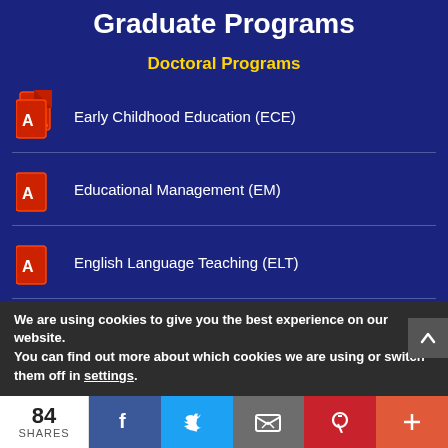Graduate Programs
Doctoral Programs
Early Childhood Education (ECE)
Educational Management (EM)
English Language Teaching (ELT)
Filipino Language Teaching (FLT)
Science Education (SE)
We are using cookies to give you the best experience on our website.
You can find out more about which cookies we are using or switch them off in settings.
84 SHARES